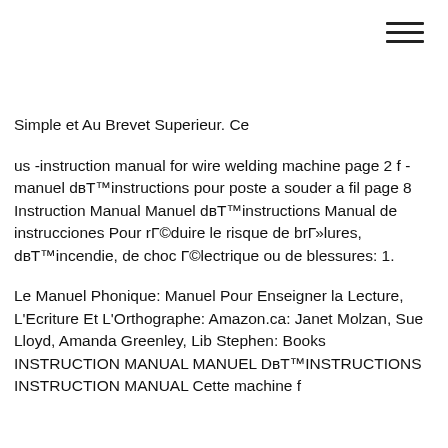Simple et Au Brevet Superieur. Ce
us -instruction manual for wire welding machine page 2 f -manuel dвТ™instructions pour poste a souder a fil page 8 Instruction Manual Manuel dвТ™instructions Manual de instrucciones Pour rГ©duire le risque de brГ»lures, dвТ™incendie, de choc Г©lectrique ou de blessures: 1.
Le Manuel Phonique: Manuel Pour Enseigner la Lecture, L'Ecriture Et L'Orthographe: Amazon.ca: Janet Molzan, Sue Lloyd, Amanda Greenley, Lib Stephen: Books INSTRUCTION MANUAL MANUEL DвТ™INSTRUCTIONS INSTRUCTION MANUAL Cette machine f